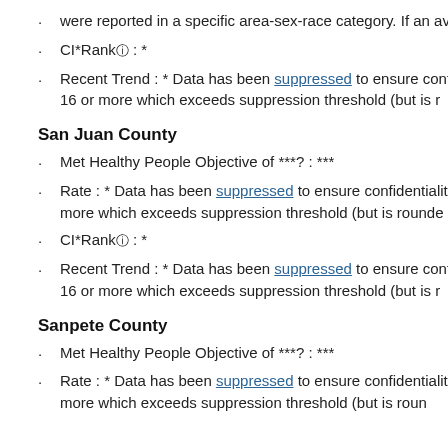were reported in a specific area-sex-race category. If an average of 16 or more which exceeds suppression threshold (but is rounde
CI*Rankⓘ : *
Recent Trend : * Data has been suppressed to ensure confidentiality and stability of rate estimates. Fewer than 16 records were reported in a specific area-sex-race category. If an average count of 16 or more which exceeds suppression threshold (but is r
San Juan County
Met Healthy People Objective of ***? : ***
Rate : * Data has been suppressed to ensure confidentiality were reported in a specific area-sex-race category. If an av more which exceeds suppression threshold (but is rounde
CI*Rankⓘ : *
Recent Trend : * Data has been suppressed to ensure confi records were reported in a specific area-sex-race category. 16 or more which exceeds suppression threshold (but is r
Sanpete County
Met Healthy People Objective of ***? : ***
Rate : * Data has been suppressed to ensure confidentiality were reported in a specific area-sex-race category. If an av more which exceeds suppression threshold (but is roun